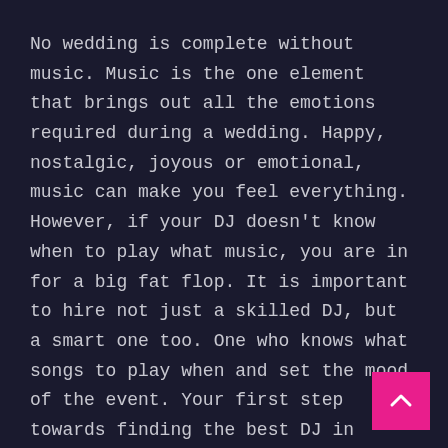No wedding is complete without music. Music is the one element that brings out all the emotions required during a wedding. Happy, nostalgic, joyous or emotional, music can make you feel everything. However, if your DJ doesn't know when to play what music, you are in for a big fat flop. It is important to hire not just a skilled DJ, but a smart one too. One who knows what songs to play when and set the mood of the event. Your first step towards finding the best DJ in Chennai for wedding is to do your research and talk to planners. Once you have narrowed down on them, here are a few questions you should ask: